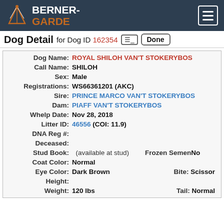BERNER-GARDE
Dog Detail for Dog ID 162354
| Field | Value |
| --- | --- |
| Dog Name: | ROYAL SHILOH VAN'T STOKERYBOS |
| Call Name: | SHILOH |
| Sex: | Male |
| Registrations: | WS66361201 (AKC) |
| Sire: | PRINCE MARCO VAN'T STOKERYBOS |
| Dam: | PIAFF VAN'T STOKERYBOS |
| Whelp Date: | Nov 28, 2018 |
| Litter ID: | 46556 (COI: 11.9) |
| DNA Reg #: |  |
| Deceased: |  |
| Stud Book: | (available at stud)   Frozen Semen No |
| Coat Color: | Normal |
| Eye Color: | Dark Brown   Bite: Scissor |
| Height: |  |
| Weight: | 120 lbs   Tail: Normal |